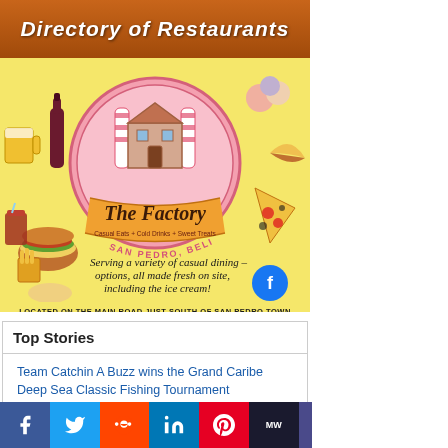[Figure (illustration): Directory of Restaurants header banner with brown background and white italic text reading 'Directory of Restaurants']
[Figure (infographic): The Factory restaurant advertisement. Yellow background with cartoon food illustrations (burger, pizza, ice cream, pasta, beer, wine, hot dog, fries, taco). Central pink circular logo with striped columns and a house/factory building. Banner reads 'The Factory' in script with tagline 'Casual Eats + Cold Drinks + Sweet Treats'. Text below reads 'SAN PEDRO, BELIZE'. Handwritten text: 'Serving a variety of casual dining options, all made fresh on site, including the ice cream!' with a pointing hand and Facebook logo. Bottom text: 'LOCATED ON THE MAIN ROAD JUST SOUTH OF SAN PEDRO TOWN']
Top Stories
Team Catchin A Buzz wins the Grand Caribe Deep Sea Classic Fishing Tournament
Four men, including a Canadian national charged
[Figure (infographic): Social media sharing bar with icons: Facebook (blue), Twitter (light blue), Reddit (orange-red), LinkedIn (blue), Pinterest (red), MW (dark), MI (blue), WhatsApp (green), Share (gray)]